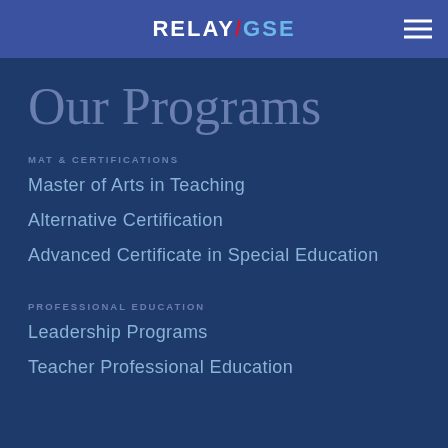RELAY/GSE
Our Programs
MAT & CERTIFICATIONS
Master of Arts in Teaching
Alternative Certification
Advanced Certificate in Special Education
PROFESSIONAL EDUCATION
Leadership Programs
Teacher Professional Education